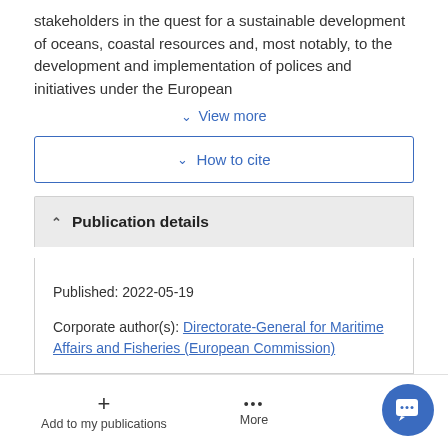stakeholders in the quest for a sustainable development of oceans, coastal resources and, most notably, to the development and implementation of polices and initiatives under the European
View more
How to cite
Publication details
Published: 2022-05-19
Corporate author(s): Directorate-General for Maritime Affairs and Fisheries (European Commission)
Personal author(s): Addamo, Anna M.;
Add to my publications
More